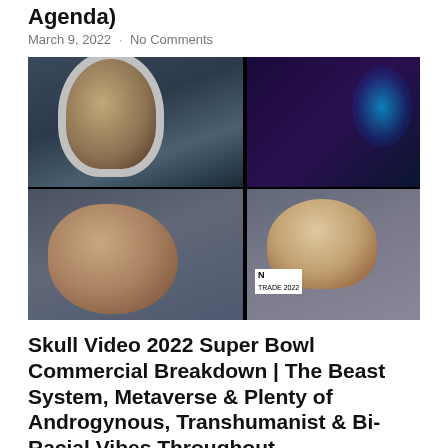Agenda)
March 9, 2022 · No Comments
[Figure (screenshot): Thumbnail image of 2022 Super Bowl commercials compilation showing six video stills: astronaut, person lying down, neon scene, screaming person, beverage cans on ice, and a woman]
Skull Video 2022 Super Bowl Commercial Breakdown | The Beast System, Metaverse & Plenty of Androgynous, Transhumanist & Bi-Racial Vibes Throughout
February 21, 2022 · No Comments